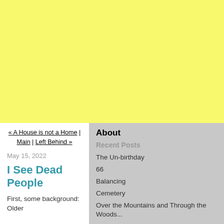[Figure (other): Yellow advertisement banner placeholder]
« A House is not a Home | Main | Left Behind »
May 15, 2022
I See Dead People
First, some background: Older
About
Recent Posts
The Un-birthday
66
Balancing
Cemetery
Over the Mountains and Through the Woods...